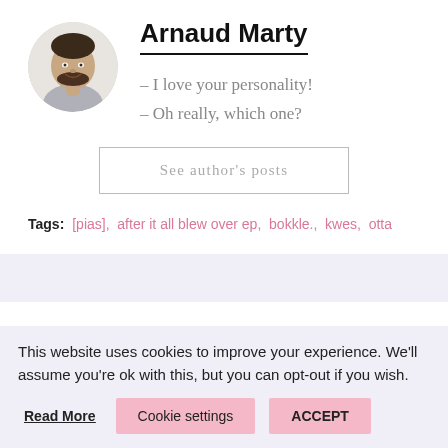[Figure (photo): Circular profile photo of Arnaud Marty, a smiling man with short dark hair and beard, wearing a grey shirt.]
Arnaud Marty
– I love your personality!
– Oh really, which one?
See author's posts
Tags:  [pias],  after it all blew over ep,  bokkle.,  kwes,  otta
This website uses cookies to improve your experience. We'll assume you're ok with this, but you can opt-out if you wish.
Read More   Cookie settings   ACCEPT